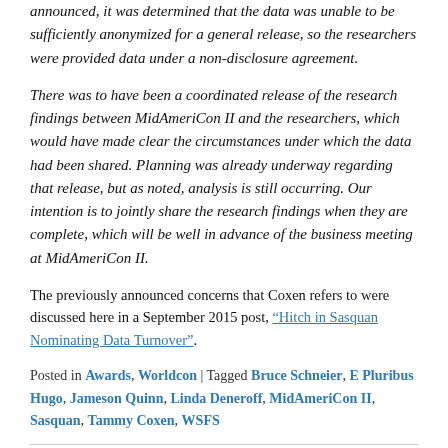announced, it was determined that the data was unable to be sufficiently anonymized for a general release, so the researchers were provided data under a non-disclosure agreement.
There was to have been a coordinated release of the research findings between MidAmeriCon II and the researchers, which would have made clear the circumstances under which the data had been shared. Planning was already underway regarding that release, but as noted, analysis is still occurring. Our intention is to jointly share the research findings when they are complete, which will be well in advance of the business meeting at MidAmeriCon II.
The previously announced concerns that Coxen refers to were discussed here in a September 2015 post, “Hitch in Sasquan Nominating Data Turnover”.
Posted in Awards, Worldcon | Tagged Bruce Schneier, E Pluribus Hugo, Jameson Quinn, Linda Deneroff, MidAmeriCon II, Sasquan, Tammy Coxen, WSFS